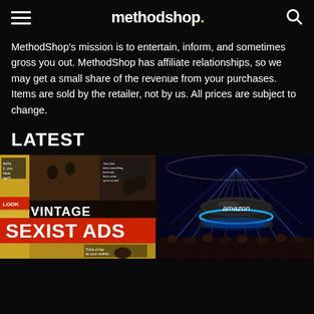methodshop.
MethodShop's mission is to entertain, inform, and sometimes gross you out. MethodShop has affiliate relationships, so we may get a small share of the revenue from your purchases. Items are sold by the retailer, not by us. All prices are subject to change.
LATEST
[Figure (photo): Vintage Sexist Ads collage thumbnail with text overlay reading VINTAGE SEXIST ADS]
[Figure (photo): Amazon Echo Dot device glowing with blue light on a concert stage background with amazon logo]